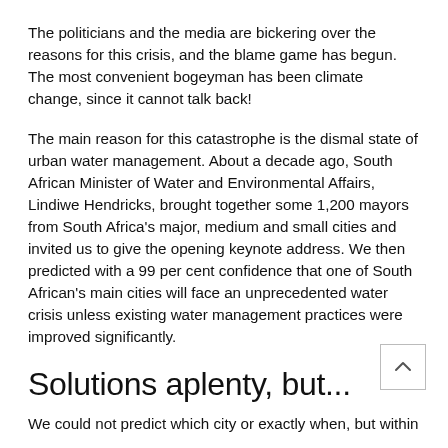The politicians and the media are bickering over the reasons for this crisis, and the blame game has begun. The most convenient bogeyman has been climate change, since it cannot talk back!
The main reason for this catastrophe is the dismal state of urban water management. About a decade ago, South African Minister of Water and Environmental Affairs, Lindiwe Hendricks, brought together some 1,200 mayors from South Africa's major, medium and small cities and invited us to give the opening keynote address. We then predicted with a 99 per cent confidence that one of South African's main cities will face an unprecedented water crisis unless existing water management practices were improved significantly.
Solutions aplenty, but...
We could not predict which city or exactly when, but within